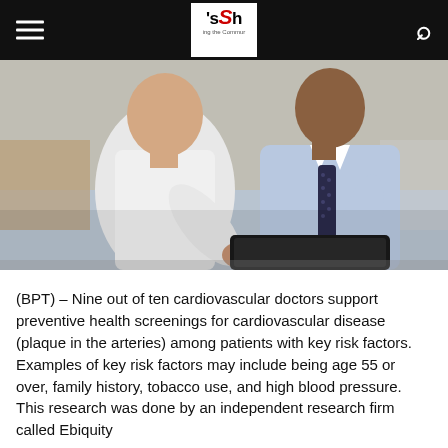'sSh — ing the Commur [logo/navigation bar]
[Figure (photo): Two people in a medical/clinical setting. One person in a white shirt gestures with hands, the other (presumably a doctor) in a light blue shirt and dark patterned tie holds a tablet/clipboard.]
(BPT) – Nine out of ten cardiovascular doctors support preventive health screenings for cardiovascular disease (plaque in the arteries) among patients with key risk factors. Examples of key risk factors may include being age 55 or over, family history, tobacco use, and high blood pressure. This research was done by an independent research firm called Ebiquity